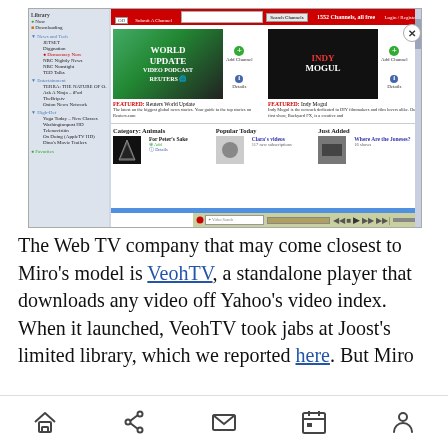[Figure (screenshot): Screenshot of a web TV / video podcast directory application showing channels including Reuters World Update and Indy Mogul, with sidebar navigation, search bar, featured channels, and a video player bar at the bottom.]
The Web TV company that may come closest to Miro's model is VeohTV, a standalone player that downloads any video off Yahoo's video index. When it launched, VeohTV took jabs at Joost's limited library, which we reported here. But Miro